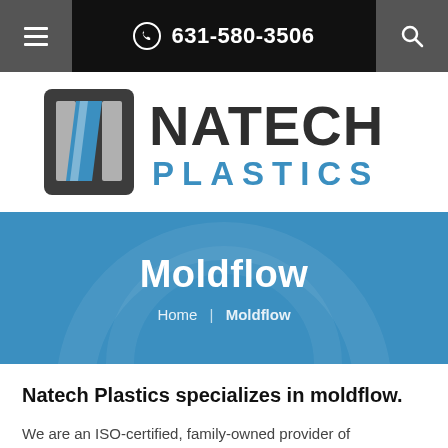631-580-3506
[Figure (logo): Natech Plastics logo with stylized N icon in dark gray and blue, and text NATECH PLASTICS]
Moldflow
Home | Moldflow
Natech Plastics specializes in moldflow.
We are an ISO-certified, family-owned provider of engineering, custom injection molding, and contract manufacturing. Our